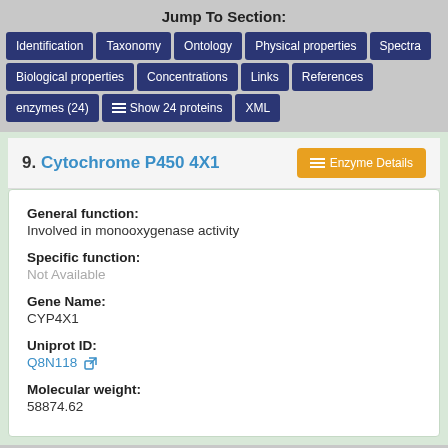Jump To Section:
Identification
Taxonomy
Ontology
Physical properties
Spectra
Biological properties
Concentrations
Links
References
enzymes (24)
Show 24 proteins
XML
9. Cytochrome P450 4X1
General function:
Involved in monooxygenase activity
Specific function:
Not Available
Gene Name:
CYP4X1
Uniprot ID:
Q8N118
Molecular weight:
58874.62